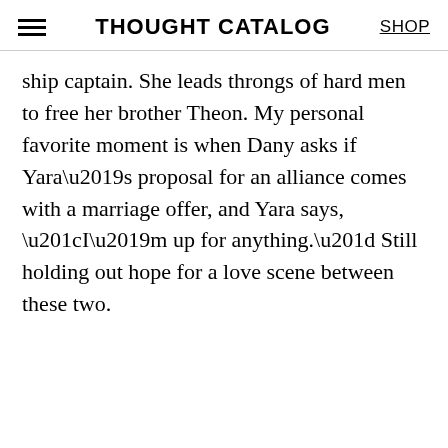THOUGHT CATALOG
ship captain. She leads throngs of hard men to free her brother Theon. My personal favorite moment is when Dany asks if Yara’s proposal for an alliance comes with a marriage offer, and Yara says, “I’m up for anything.” Still holding out hope for a love scene between these two.